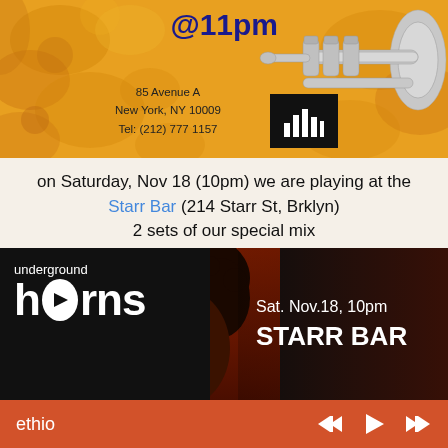[Figure (illustration): Top banner with orange/gold floral background, trumpet image, '@11pm' text in blue, address block '85 Avenue A, New York, NY 10009, Tel: (212) 777 1157', and a black logo block with bar graph icon]
on Saturday, Nov 18 (10pm) we are playing at the Starr Bar (214 Starr St, Brklyn)
2 sets of our special mix
AFRO FUNK LATIN NOLA BRASS GROOVES & BEYOND
DJ TBA
Star Bar is a cool night life venue in Bushwick (half a block from the L-train Jefferson stop) that celebrates and supports social justice...
[Figure (photo): Underground Horns promotional banner: black background with 'underground horns' logo text on left, face/portrait photo in center, red background on right with white text 'Sat. Nov.18, 10pm STARR BAR']
ethio